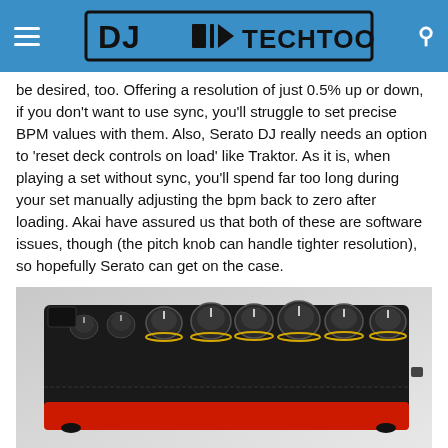DJ TechTools
be desired, too. Offering a resolution of just 0.5% up or down, if you don't want to use sync, you'll struggle to set precise BPM values with them. Also, Serato DJ really needs an option to 'reset deck controls on load' like Traktor. As it is, when playing a set without sync, you'll spend far too long during your set manually adjusting the bpm back to zero after loading. Akai have assured us that both of these are software issues, though (the pitch knob can handle tighter resolution), so hopefully Serato can get on the case.
[Figure (photo): Profile view of a DJ mixer with black body and red base, showing multiple knobs on top, side profile view]
Profile view – this mixer needs a stand!
Sound quality is good, though, and the build quality, although full-on plastic, feels made to last – the pots all feel rock-solid,